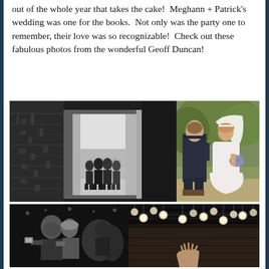out of the whole year that takes the cake!  Meghann + Patrick's wedding was one for the books.  Not only was the party one to remember, their love was so recognizable!  Check out these fabulous photos from the wonderful Geoff Duncan!
[Figure (photo): Black and white photo of groomsmen standing in a doorway/entrance looking out, stone wall visible on left]
[Figure (photo): Color photo of bride in white dress and veil with groom in dark suit walking outdoors among trees]
[Figure (photo): Black and white photo of couple dancing or celebrating at wedding reception, man holding something]
[Figure (photo): Dark photo of wedding venue interior with hanging globe lights above stone wall, hand raised in air at bottom]